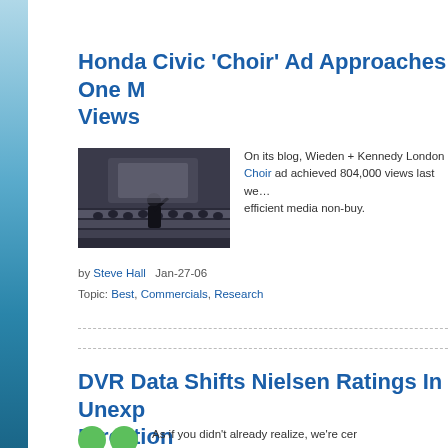Honda Civic 'Choir' Ad Approaches One M Views
[Figure (photo): Photo of a choir conductor leading a large group of people in a dark venue]
On its blog, Wieden + Kennedy London noted the Civic 'Choir' ad achieved 804,000 views last week, the most efficient media non-buy.
by Steve Hall   Jan-27-06
Topic: Best, Commercials, Research
DVR Data Shifts Nielsen Ratings In Unexp Direction
As if you didn't already realize, we're cer